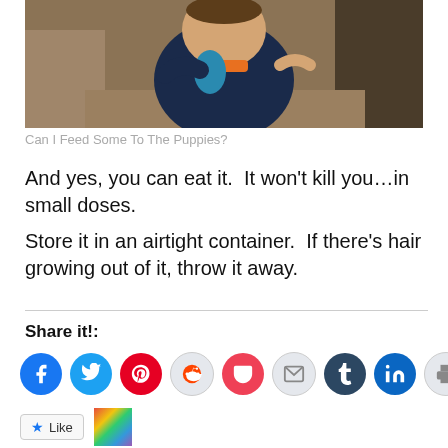[Figure (photo): A young child in a navy blue hoodie holding a blue item, sitting on a couch]
Can I Feed Some To The Puppies?
And yes, you can eat it.  It won't kill you…in small doses.
Store it in an airtight container.  If there's hair growing out of it, throw it away.
Share it!:
[Figure (infographic): Social share buttons: Facebook, Twitter, Pinterest, Reddit, Pocket, Email, Tumblr, LinkedIn, Print]
[Figure (other): Like button and thumbnail image]